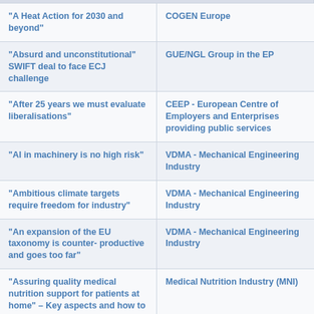| Title | Organization |
| --- | --- |
| "A Heat Action for 2030 and beyond" | COGEN Europe |
| "Absurd and unconstitutional" SWIFT deal to face ECJ challenge | GUE/NGL Group in the EP |
| "After 25 years we must evaluate liberalisations" | CEEP - European Centre of Employers and Enterprises providing public services |
| "AI in machinery is no high risk" | VDMA - Mechanical Engineering Industry |
| "Ambitious climate targets require freedom for industry" | VDMA - Mechanical Engineering Industry |
| "An expansion of the EU taxonomy is counter- productive and goes too far" | VDMA - Mechanical Engineering Industry |
| "Assuring quality medical nutrition support for patients at home" – Key aspects and how to promote it, discussed at ESPEN Congress 2019 | Medical Nutrition Industry (MNI) |